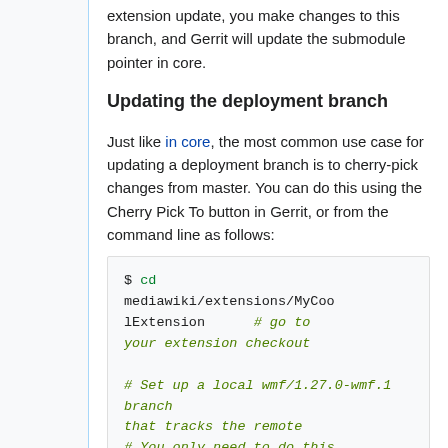extension update, you make changes to this branch, and Gerrit will update the submodule pointer in core.
Updating the deployment branch
Just like in core, the most common use case for updating a deployment branch is to cherry-pick changes from master. You can do this using the Cherry Pick To button in Gerrit, or from the command line as follows:
$ cd mediawiki/extensions/MyCoolExtension      # go to your extension checkout

# Set up a local wmf/1.27.0-wmf.1 branch that tracks the remote
# You only need to do this once for each branch; if
you've already got a...